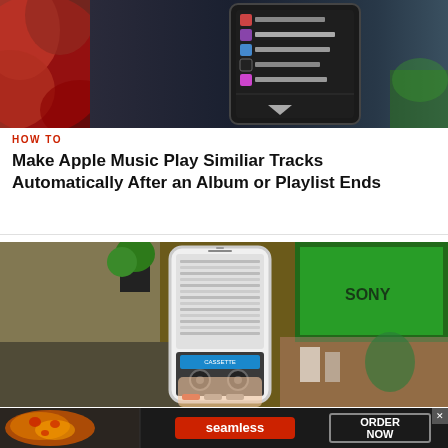[Figure (photo): Smartphone showing a dark music app interface with song list, surrounded by red flowers on left and dark background on right]
HOW TO
Make Apple Music Play Similiar Tracks Automatically After an Album or Playlist Ends
[Figure (photo): Hand holding a smartphone showing a cassette tape app, with a cluttered desk in background with green screen TV and plants]
[Figure (photo): Seamless food delivery advertisement banner with pizza image, Seamless logo, and ORDER NOW button]